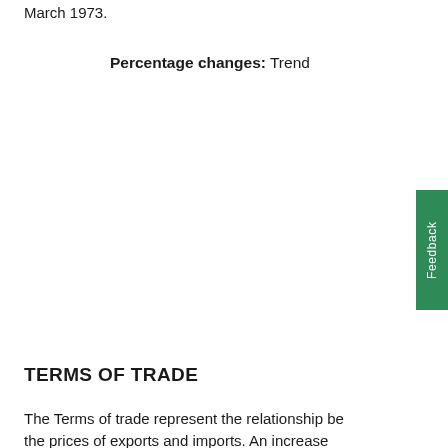March 1973.
Percentage changes: Trend
TERMS OF TRADE
The Terms of trade represent the relationship between the prices of exports and imports. An increase (decrease) in the Terms of trade reflects export p